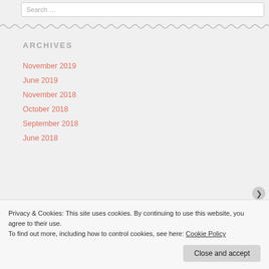Search …
ARCHIVES
November 2019
June 2019
November 2018
October 2018
September 2018
June 2018
Privacy & Cookies: This site uses cookies. By continuing to use this website, you agree to their use.
To find out more, including how to control cookies, see here: Cookie Policy
Close and accept